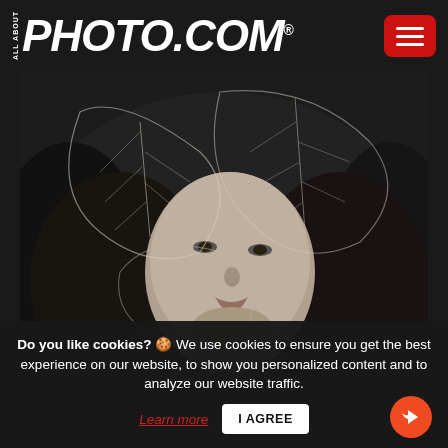ALL ABOUT PHOTO.COM
[Figure (photo): Black and white portrait photograph of a young woman lying down with translucent skeletal leaves overlaid across her face and hair, creating an artistic double-exposure effect.]
Do you like cookies? 🍪 We use cookies to ensure you get the best experience on our website, to show you personalized content and to analyze our website traffic.
Learn more | I AGREE